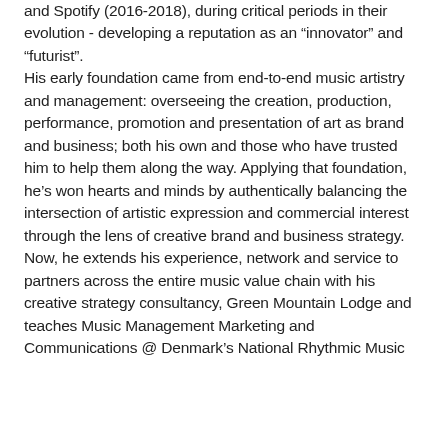and Spotify (2016-2018), during critical periods in their evolution - developing a reputation as an “innovator” and “futurist”. His early foundation came from end-to-end music artistry and management: overseeing the creation, production, performance, promotion and presentation of art as brand and business; both his own and those who have trusted him to help them along the way. Applying that foundation, he’s won hearts and minds by authentically balancing the intersection of artistic expression and commercial interest through the lens of creative brand and business strategy. Now, he extends his experience, network and service to partners across the entire music value chain with his creative strategy consultancy, Green Mountain Lodge and teaches Music Management Marketing and Communications @ Denmark’s National Rhythmic Music